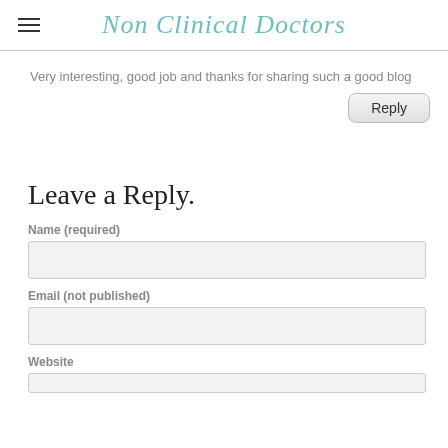Non Clinical Doctors
Very interesting, good job and thanks for sharing such a good blog
Reply
Leave a Reply.
Name (required)
Email (not published)
Website